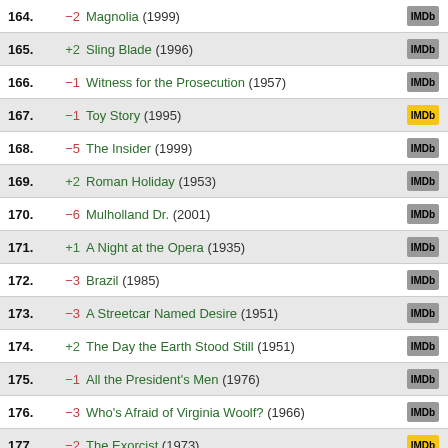164. −2 Magnolia (1999)
165. +2 Sling Blade (1996)
166. −1 Witness for the Prosecution (1957)
167. −1 Toy Story (1995)
168. −5 The Insider (1999)
169. +2 Roman Holiday (1953)
170. −6 Mulholland Dr. (2001)
171. +1 A Night at the Opera (1935)
172. −3 Brazil (1985)
173. −3 A Streetcar Named Desire (1951)
174. +2 The Day the Earth Stood Still (1951)
175. −1 All the President's Men (1976)
176. −3 Who's Afraid of Virginia Woolf? (1966)
177. −2 The Exorcist (1973)
178. −1 Les Quatre cents coups (1959)
179. +2 To Be or Not to Be (1942)
180. −1 The Killing (1956)